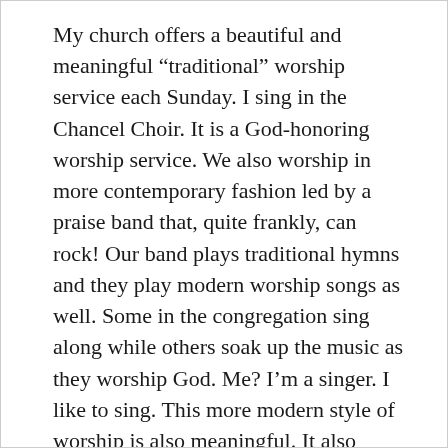My church offers a beautiful and meaningful “traditional” worship service each Sunday. I sing in the Chancel Choir. It is a God-honoring worship service. We also worship in more contemporary fashion led by a praise band that, quite frankly, can rock! Our band plays traditional hymns and they play modern worship songs as well. Some in the congregation sing along while others soak up the music as they worship God. Me? I’m a singer. I like to sing. This more modern style of worship is also meaningful. It also honors God. And I like it, too.
It saddens me, though, that churches sometimes divide over musical style. My